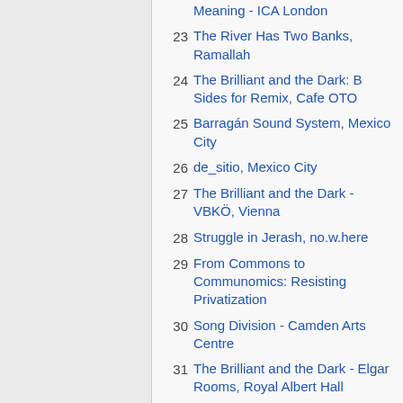Meaning - ICA London
23 The River Has Two Banks, Ramallah
24 The Brilliant and the Dark: B Sides for Remix, Cafe OTO
25 Barragán Sound System, Mexico City
26 de_sitio, Mexico City
27 The Brilliant and the Dark - VBKÖ, Vienna
28 Struggle in Jerash, no.w.here
29 From Commons to Communomics: Resisting Privatization
30 Song Division - Camden Arts Centre
31 The Brilliant and the Dark - Elgar Rooms, Royal Albert Hall
32 Beyond Struggle in Jerash, Makan
33 Vera List Center for Art and Politics at The New School, New York
34 Shadowboxing, Royal College of Art, London
35 Tempo Documentary Festival